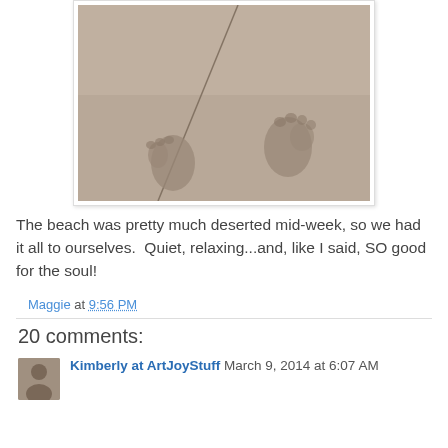[Figure (photo): Footprints in wet sand on a beach, with a diagonal line in the sand. Sepia/grayscale toned photo.]
The beach was pretty much deserted mid-week, so we had it all to ourselves.  Quiet, relaxing...and, like I said, SO good for the soul!
Maggie at 9:56 PM
20 comments:
Kimberly at ArtJoyStuff   March 9, 2014 at 6:07 AM